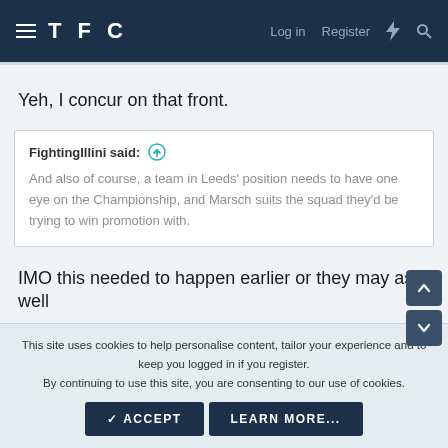TFC — Log in  Register
Yeh, I concur on that front.
FightingIllini said: And also of course, a team in Leeds' position needs to have one eye on the Championship, and Marsch suits the squad they'd be trying to win promotion with.
IMO this needed to happen earlier or they may as well
This site uses cookies to help personalise content, tailor your experience and to keep you logged in if you register.
By continuing to use this site, you are consenting to our use of cookies.